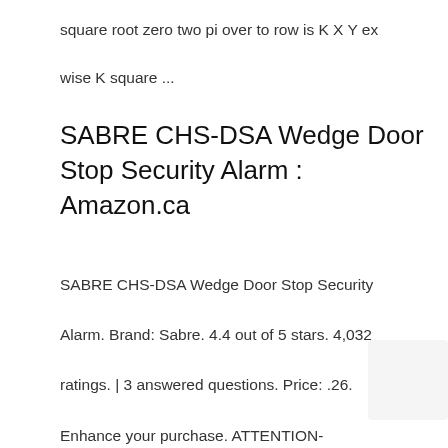square root zero two pi over to row is K X Y ex
wise K square ...
SABRE CHS-DSA Wedge Door Stop Security Alarm : Amazon.ca
SABRE CHS-DSA Wedge Door Stop Security Alarm. Brand: Sabre. 4.4 out of 5 stars. 4,032 ratings. | 3 answered questions. Price: .26. Enhance your purchase. ATTENTION-GRABBING - when door pressure is applied, the extremely loud 120 dB alarm helps wake/alert homeowner or renter, helps deter intruders and possible life criminals...